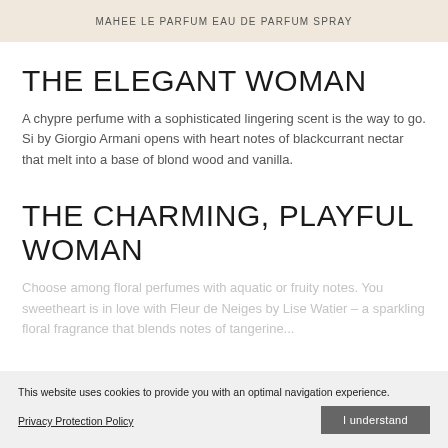MAHEE LE PARFUM EAU DE PARFUM SPRAY
THE ELEGANT WOMAN
A chypre perfume with a sophisticated lingering scent is the way to go. Si by Giorgio Armani opens with heart notes of blackcurrant nectar that melt into a base of blond wood and vanilla.
THE CHARMING, PLAYFUL WOMAN
Choose among floral perfumes with aquatic or fruity notes. You sweetheart is in love with Fleur de Neiges by Lise Watier – a sparkling floral fragrance that blends notes of tangerine...
This website uses cookies to provide you with an optimal navigation experience.
Privacy Protection Policy
I understand